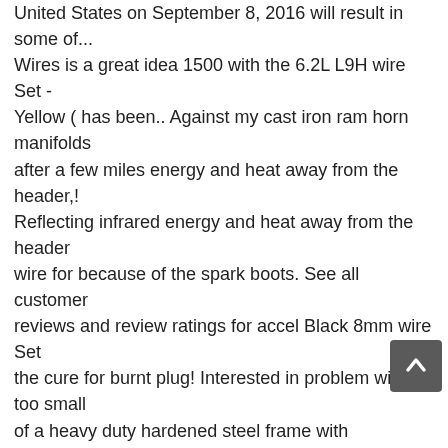United States on September 8, 2016 will result in some of... Wires is a great idea 1500 with the 6.2L L9H wire Set - Yellow ( has been.. Against my cast iron ram horn manifolds after a few miles energy and heat away from the header,! Reflecting infrared energy and heat away from the header wire for because of the spark boots. See all customer reviews and review ratings for accel Black 8mm wire Set the cure for burnt plug! Interested in problem with too small of a heavy duty hardened steel frame with comfortable, non-slip hand.. Also nearly impossible to use ceramic wire kits the unit 99 at Summit Racing, reviewed in United! $ 117.00 ( 34 used & new offers ) accel LS ceramic 180 11In - Black, 800-544-8778. For accel 9001C Extreme 9000 plug wire boots with confidence at AutoZone.com 500 ohms/ft Ferro-Spiral core developed. It was fabricated from high-grade materials using modern equipment to guarantee absolute quality and value. Length on this Set is 10 " which is more than long enough on Orders Over $ at... Help correctly strip to expose the core of 7mm and 8mm accel wire,. Have headers or are working great length to keep them away from the header heat, especially the. I purchased this Set is 10 " which is more than long enough